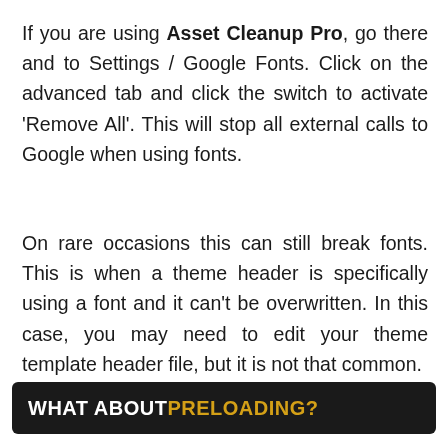If you are using Asset Cleanup Pro, go there and to Settings / Google Fonts. Click on the advanced tab and click the switch to activate 'Remove All'. This will stop all external calls to Google when using fonts.
On rare occasions this can still break fonts. This is when a theme header is specifically using a font and it can't be overwritten. In this case, you may need to edit your theme template header file, but it is not that common.
WHAT ABOUT PRELOADING?